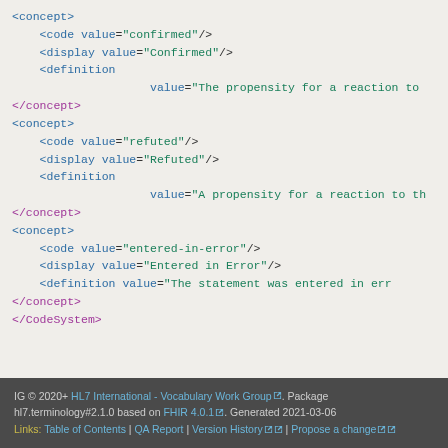XML code snippet showing FHIR CodeSystem concept definitions for 'confirmed', 'refuted', and 'entered-in-error' concepts, with code, display, and definition elements, followed by closing CodeSystem tag.
IG © 2020+ HL7 International - Vocabulary Work Group. Package hl7.terminology#2.1.0 based on FHIR 4.0.1. Generated 2021-03-06 Links: Table of Contents | QA Report | Version History | Propose a change